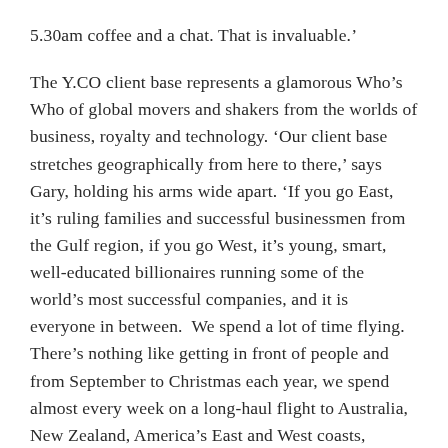5.30am coffee and a chat. That is invaluable.'
The Y.CO client base represents a glamorous Who's Who of global movers and shakers from the worlds of business, royalty and technology. 'Our client base stretches geographically from here to there,' says Gary, holding his arms wide apart. 'If you go East, it's ruling families and successful businessmen from the Gulf region, if you go West, it's young, smart, well-educated billionaires running some of the world's most successful companies, and it is everyone in between.  We spend a lot of time flying. There's nothing like getting in front of people and from September to Christmas each year, we spend almost every week on a long-haul flight to Australia, New Zealand, America's East and West coasts,